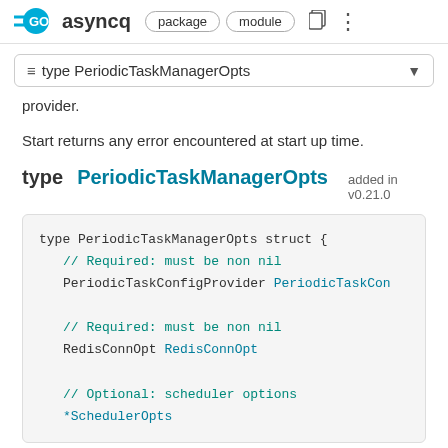GO asyncq  package  module
≡ type PeriodicTaskManagerOpts
provider.
Start returns any error encountered at start up time.
type PeriodicTaskManagerOpts   added in v0.21.0
type PeriodicTaskManagerOpts struct {
    // Required: must be non nil
    PeriodicTaskConfigProvider PeriodicTaskCon

    // Required: must be non nil
    RedisConnOpt RedisConnOpt

    // Optional: scheduler options
    *SchedulerOpts